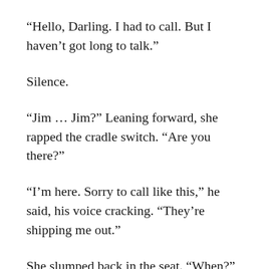“Hello, Darling. I had to call. But I haven’t got long to talk.”
Silence.
“Jim … Jim?” Leaning forward, she rapped the cradle switch. “Are you there?”
“I’m here. Sorry to call like this,” he said, his voice cracking. “They’re shipping me out.”
She slumped back in the seat. “When?”
“I board a train for New York next week. Then a troopship.”